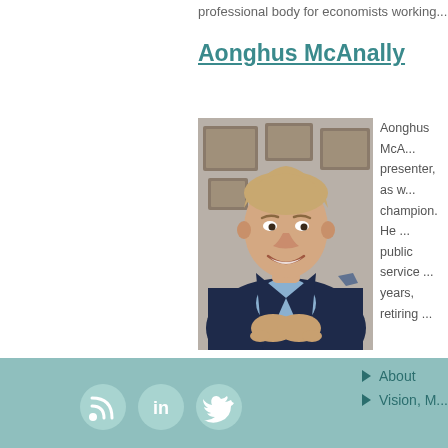professional body for economists working...
Aonghus McAnally
[Figure (photo): Professional headshot of Aonghus McAnally, a man in a dark navy blazer and light blue shirt, seated and smiling with hands clasped, in front of framed pictures on a wall.]
Aonghus McA... presenter, as w... champion. He... public service ... years, retiring...
About  Vision, M...